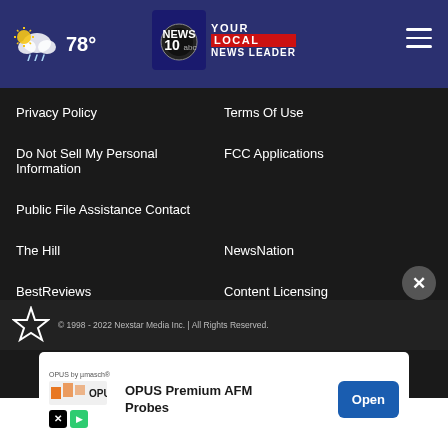78° | NEWS 10 Your Local News Leader
Privacy Policy
Terms Of Use
Do Not Sell My Personal Information
FCC Applications
Public File Assistance Contact
The Hill
NewsNation
BestReviews
Content Licensing
Nexstar Digital
© 1998 - 2022 Nexstar Media Inc. | All Rights Reserved.
[Figure (infographic): OPUS Premium AFM Probes advertisement banner with Open button]